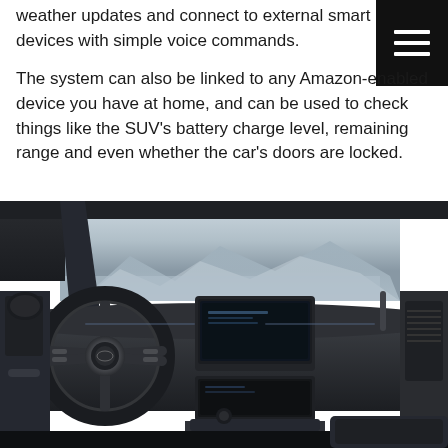weather updates and connect to external smart devices with simple voice commands.
The system can also be linked to any Amazon-enabled device you have at home, and can be used to check things like the SUV's battery charge level, remaining range and even whether the car's doors are locked.
[Figure (photo): Interior photo of a Jaguar I-PACE electric SUV showing the steering wheel, dashboard, center console with touchscreen infotainment, and a scenic background with water and mountains visible through the windshield.]